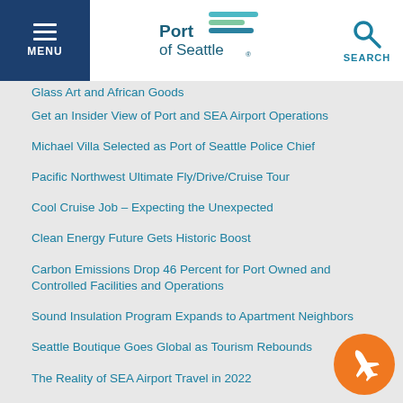Port of Seattle — MENU / SEARCH navigation header
...ing from Sea to Global: New Airport Shops Feature Glass Art and African Goods
Get an Insider View of Port and SEA Airport Operations
Michael Villa Selected as Port of Seattle Police Chief
Pacific Northwest Ultimate Fly/Drive/Cruise Tour
Cool Cruise Job – Expecting the Unexpected
Clean Energy Future Gets Historic Boost
Carbon Emissions Drop 46 Percent for Port Owned and Controlled Facilities and Operations
Sound Insulation Program Expands to Apartment Neighbors
Seattle Boutique Goes Global as Tourism Rebounds
The Reality of SEA Airport Travel in 2022
Other Documents
ORAT Project Delivery Process